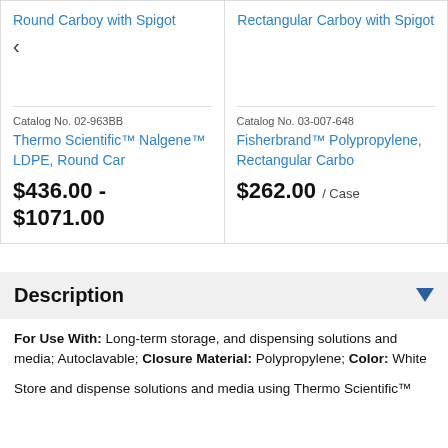Round Carboy with Spigot
Rectangular Carboy with Spigot
Catalog No. 02-963BB
Thermo Scientific™ Nalgene™ LDPE, Round Car
$436.00 - $1071.00
Catalog No. 03-007-648
Fisherbrand™ Polypropylene, Rectangular Carbo
$262.00 / Case
Description
For Use With: Long-term storage, and dispensing solutions and media; Autoclavable; Closure Material: Polypropylene; Color: White
Store and dispense solutions and media using Thermo Scientific™